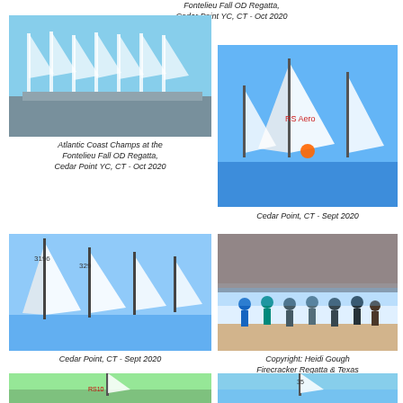Fontelieu Fall OD Regatta, Cedar Point YC, CT - Oct 2020
[Figure (photo): Many white sailboats lined up on a dock/parking area, Atlantic Coast Champs at Fontelieu Fall OD Regatta]
Atlantic Coast Champs at the Fontelieu Fall OD Regatta, Cedar Point YC, CT - Oct 2020
[Figure (photo): Sailboats racing on open water, Cedar Point CT Sept 2020]
Cedar Point, CT - Sept 2020
[Figure (photo): Sailboats racing on water, Cedar Point CT Sept 2020]
Cedar Point, CT - Sept 2020
[Figure (photo): Group of people standing on a dock, Firecracker Regatta Texas State RS Aero Championships]
Copyright: Heidi Gough Firecracker Regatta & Texas State RS Aero Championships, Viridian, Dallas, TX - Sept 2020
[Figure (photo): Single sailboat on calm water, bottom of page left]
[Figure (photo): Sailboat on water with people, bottom of page right]